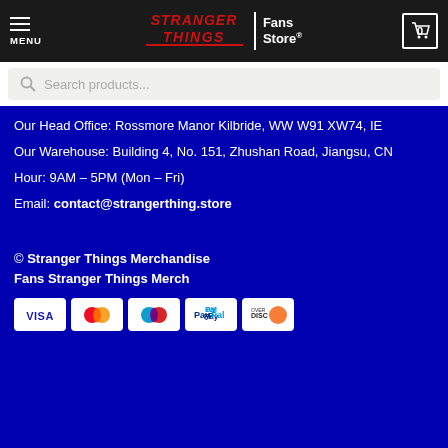MENU | Stranger Things Fans Store® | Cart 0
Search products...
Our Head Office: Rossmore Manor Kilbride, WW W91 XW74, IE
Our Warehouse: Building 4, No. 151, Zhushan Road, Jiangsu, CN
Hour: 9AM – 5PM (Mon – Fri)
Email: contact@strangerthing.store
© Stranger Things Merchandise
Fans Stranger Things Merch
[Figure (other): Payment method icons: Visa, Mastercard, Maestro, PayPal, Discover]